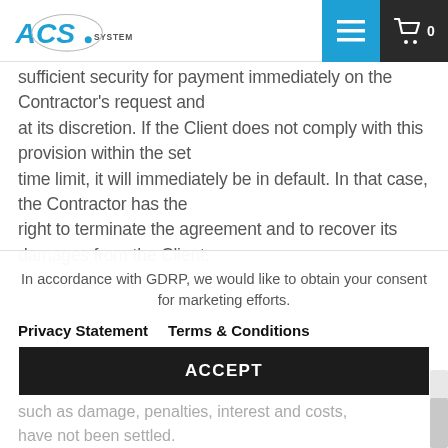ACS Systems BV
sufficient security for payment immediately on the Contractor's request and at its discretion. If the Client does not comply with this provision within the set time limit, it will immediately be in default. In that case, the Contractor has the right to terminate the agreement and to recover its damages from the Client.
In accordance with GDRP, we would like to obtain your consent for marketing efforts.
Privacy Statement   Terms & Conditions
ACCEPT
such as damage, penalties, interest and costs, have not been settled.